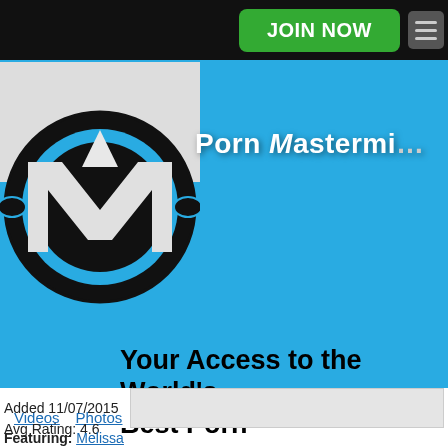JOIN NOW
[Figure (logo): Porn Mastermind logo: black circle with stylized white/grey M letter inside, blue background banner with brand name 'Porn Mastermind' in white bold text]
Your Access to the World's Best Porn
Videos   Photos
Added 11/07/2015
Avg Rating: 4.6
Featuring: Melissa